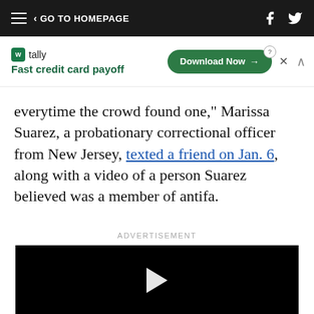GO TO HOMEPAGE
[Figure (screenshot): Tally app advertisement banner: tally logo, 'Fast credit card payoff', Download Now button]
everytime the crowd found one,” Marissa Suarez, a probationary correctional officer from New Jersey, texted a friend on Jan. 6, along with a video of a person Suarez believed was a member of antifa.
ADVERTISEMENT
[Figure (screenshot): Black video player with play button]